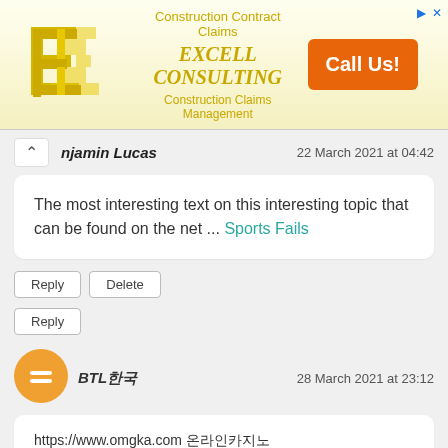[Figure (illustration): Excell Consulting advertisement banner with company logo (yellow E shape), text 'Construction Contract Claims', 'EXCELL CONSULTING', 'Construction Claims Management', and orange 'Call Us!' button]
njamin Lucas   22 March 2021 at 04:42
The most interesting text on this interesting topic that can be found on the net ... Sports Fails
Reply   Delete
Reply
[Figure (logo): Orange circle Blogger avatar icon with white equal sign]
BTL한국   28 March 2021 at 23:12
https://www.omgka.com 온라인카지노
https://www.omgka.com/theking 더킹카지노
https://www.omgka.com/sands 샌즈카지노